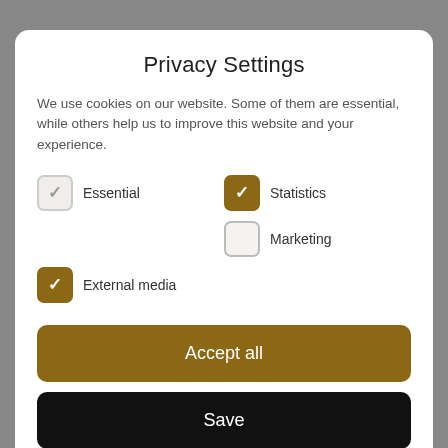Privacy Settings
We use cookies on our website. Some of them are essential, while others help us to improve this website and your experience.
Essential (checked, light)
Statistics (checked, dark)
Marketing (unchecked)
External media (checked, dark)
Accept all
Save
Only accept necessary cookies